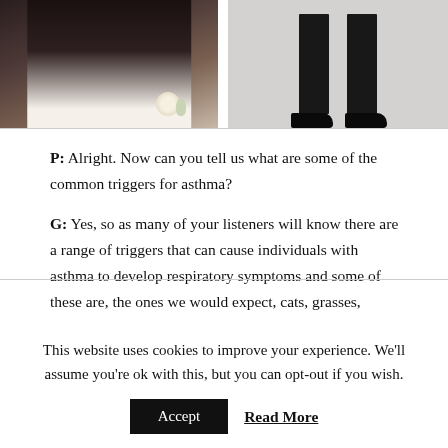[Figure (photo): Two photos side by side: left shows a bride and groom at a wedding, right shows a person's legs and dress shoes against a gray background.]
P: Alright. Now can you tell us what are some of the common triggers for asthma?
G: Yes, so as many of your listeners will know there are a range of triggers that can cause individuals with asthma to develop respiratory symptoms and some of these are, the ones we would expect, cats, grasses, pollen, house dust, mites and so for example a lot of
This website uses cookies to improve your experience. We'll assume you're ok with this, but you can opt-out if you wish.